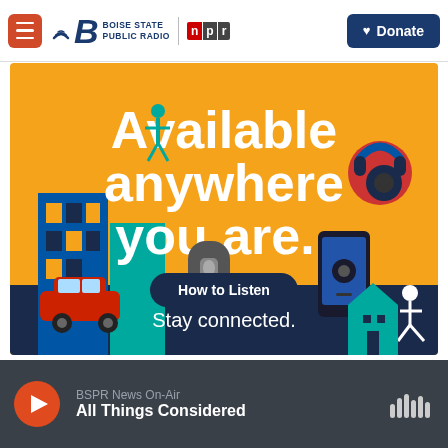Boise State Public Radio | NPR | Donate
[Figure (illustration): Promotional banner: 'Available anywhere you are. How to Listen. Stay connected.' with colorful illustration of city scene, smart speaker, car, smartphone, person with headphones, and runner on orange/blue background.]
BSPR News On-Air
All Things Considered